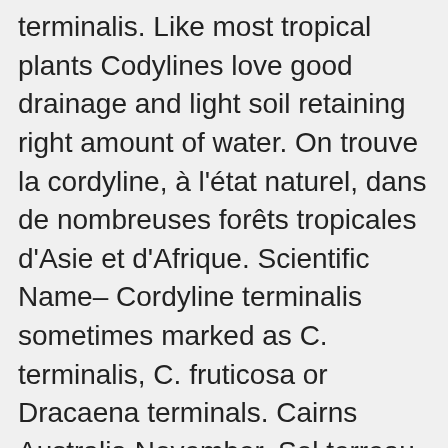terminalis. Like most tropical plants Codylines love good drainage and light soil retaining right amount of water. On trouve la cordyline, à l'état naturel, dans de nombreuses forêts tropicales d'Asie et d'Afrique. Scientific Name– Cordyline terminalis sometimes marked as C. terminalis, C. fruticosa or Dracaena terminals. Cairns Australia November. Sol terreau, bien drainé. It has about 27 species of plants known for their colorful foliage. Cordyline fructicosa, l'épinard hawaïen, est une plante tropicale arbustive cultivée très fréquemment comme plante d'intérieur. Rajouter le lait avec des feuilles basilics... Pelez le concombre. Cordyline terminalis is a tropical ornamental with high decorative value due its variety of colors and foliar patterns. Variétés panachées de rose, rouge, crème, vert clair et foncé. It is